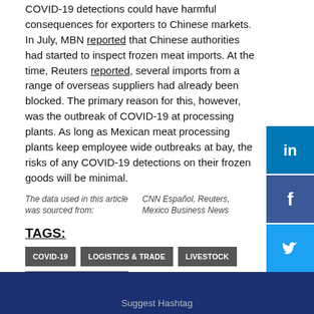COVID-19 detections could have harmful consequences for exporters to Chinese markets. In July, MBN reported that Chinese authorities had started to inspect frozen meat imports. At the time, Reuters reported, several imports from a range of overseas suppliers had already been blocked. The primary reason for this, however, was the outbreak of COVID-19 at processing plants. As long as Mexican meat processing plants keep employee wide outbreaks at bay, the risks of any COVID-19 detections on their frozen goods will be minimal.
The data used in this article was sourced from:    CNN Español, Reuters, Mexico Business News
TAGS:
COVID-19
LOGISTICS & TRADE
LIVESTOCK
POLICY & REGULATION
Suggest Hashtag